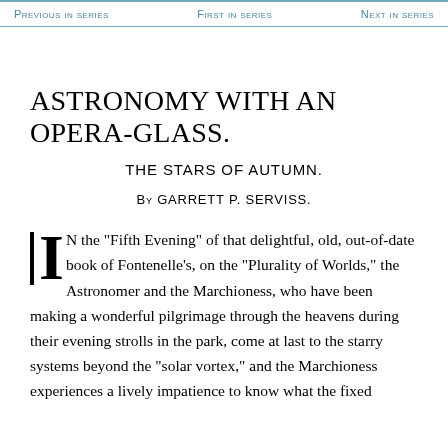Previous in series | First in series | Next in series
ASTRONOMY WITH AN OPERA-GLASS.
THE STARS OF AUTUMN.
By GARRETT P. SERVISS.
IN the "Fifth Evening" of that delightful, old, out-of-date book of Fontenelle's, on the "Plurality of Worlds," the Astronomer and the Marchioness, who have been making a wonderful pilgrimage through the heavens during their evening strolls in the park, come at last to the starry systems beyond the "solar vortex," and the Marchioness experiences a lively impatience to know what the fixed